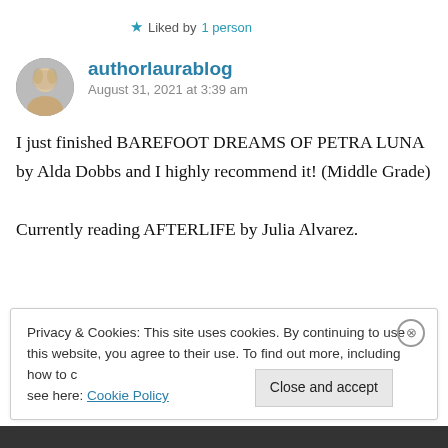★ Liked by 1 person
authorlaurablog
August 31, 2021 at 3:39 am
I just finished BAREFOOT DREAMS OF PETRA LUNA by Alda Dobbs and I highly recommend it! (Middle Grade)

Currently reading AFTERLIFE by Julia Alvarez.
Privacy & Cookies: This site uses cookies. By continuing to use this website, you agree to their use. To find out more, including how to control cookies, see here: Cookie Policy